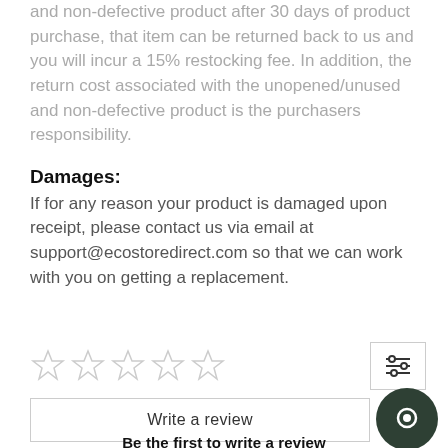and non-defective product after 30 days of product purchase, that item can be returned back to us and you will incur a 15% restocking fee. In addition, the return cost associated with the unopened/unused and non-defective product is the purchasers responsibility.
Damages:
If for any reason your product is damaged upon receipt, please contact us via email at support@ecostoredirect.com so that we can work with you on getting a replacement.
[Figure (other): Five empty star rating icons in a row]
[Figure (other): Filter/settings icon button]
[Figure (other): Write a review button]
[Figure (other): Dark green chat bubble icon]
Be the first to write a review